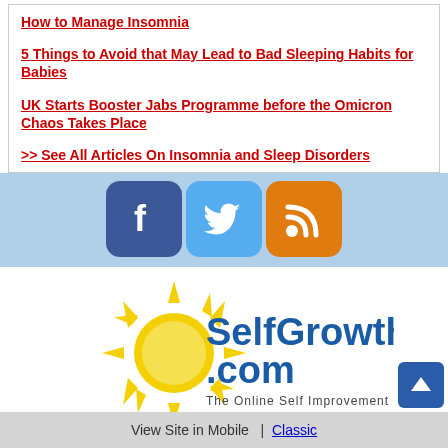How to Manage Insomnia
5 Things to Avoid that May Lead to Bad Sleeping Habits for Babies
UK Starts Booster Jabs Programme before the Omicron Chaos Takes Place
>> See All Articles On Insomnia and Sleep Disorders
[Figure (logo): Social media icons: Facebook (blue), Twitter (light blue), RSS (orange)]
[Figure (logo): SelfGrowth.com logo with sun graphic and tagline 'The Online Self Improvement Community']
View Site in Mobile  |  Classic